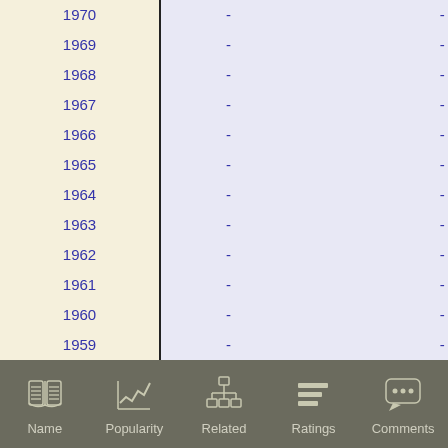| Year |  |  |
| --- | --- | --- |
| 1970 | - | - |
| 1969 | - | - |
| 1968 | - | - |
| 1967 | - | - |
| 1966 | - | - |
| 1965 | - | - |
| 1964 | - | - |
| 1963 | - | - |
| 1962 | - | - |
| 1961 | - | - |
| 1960 | - | - |
| 1959 | - | - |
| 1958 | - | - |
Name | Popularity | Related | Ratings | Comments